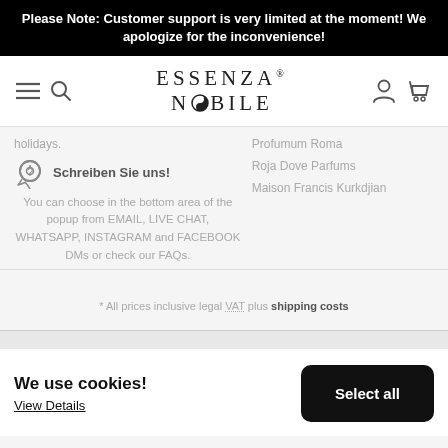Please Note: Customer support is very limited at the moment! We apologize for the inconvenience!
[Figure (screenshot): Essenza Nobile website navigation bar with hamburger menu, search icon, logo, user icon, and cart icon]
holidays.
Profumum Roma
Roja Dove Parfums
Maison Francis Kurkdjian
Schreiben Sie uns!
You can choose in the bottom area of the popup from EMAIL, LIVE CHAT, WHATSAPP, INSTAGRAM and FACEBOOK DMs or check our FAQs.
* All prices inclusive legal VAT plus shipping costs
We use cookies!
View Details